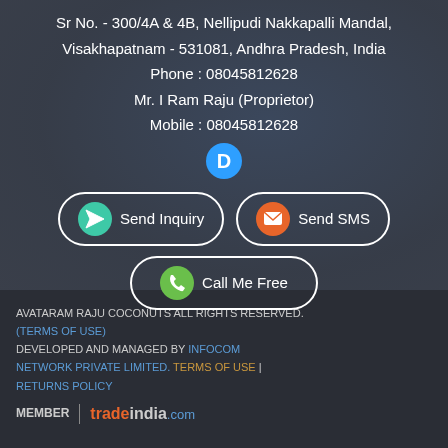Sr No. - 300/4A & 4B, Nellipudi Nakkapalli Mandal, Visakhapatnam - 531081, Andhra Pradesh, India
Phone : 08045812628
Mr. I Ram Raju (Proprietor)
Mobile : 08045812628
[Figure (illustration): Disqus icon - blue circle with D letter and speech bubble]
[Figure (illustration): Send Inquiry button with green circular icon containing paper airplane]
[Figure (illustration): Send SMS button with orange circular icon containing envelope]
[Figure (illustration): Call Me Free button with green circular icon containing phone]
AVATARAM RAJU COCONUTS ALL RIGHTS RESERVED. (TERMS OF USE) DEVELOPED AND MANAGED BY INFOCOM NETWORK PRIVATE LIMITED. TERMS OF USE | RETURNS POLICY MEMBER | tradeindia.com